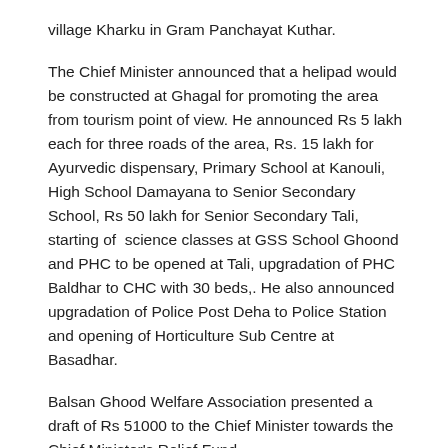village Kharku in Gram Panchayat Kuthar.
The Chief Minister announced that a helipad would be constructed at Ghagal for promoting the area from tourism point of view. He announced Rs 5 lakh each for three roads of the area, Rs. 15 lakh for Ayurvedic dispensary, Primary School at Kanouli, High School Damayana to Senior Secondary School, Rs 50 lakh for Senior Secondary Tali, starting of science classes at GSS School Ghoond and PHC to be opened at Tali, upgradation of PHC Baldhar to CHC with 30 beds,. He also announced upgradation of Police Post Deha to Police Station and opening of Horticulture Sub Centre at Basadhar.
Balsan Ghood Welfare Association presented a draft of Rs 51000 to the Chief Minister towards the Chief Minister's Relief Fund.